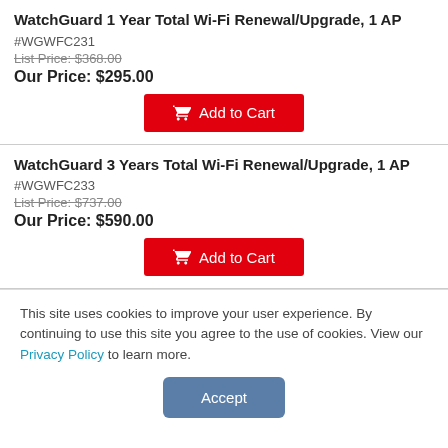WatchGuard 1 Year Total Wi-Fi Renewal/Upgrade, 1 AP
#WGWFC231
List Price: $368.00
Our Price: $295.00
WatchGuard 3 Years Total Wi-Fi Renewal/Upgrade, 1 AP
#WGWFC233
List Price: $737.00
Our Price: $590.00
This site uses cookies to improve your user experience. By continuing to use this site you agree to the use of cookies. View our Privacy Policy to learn more.